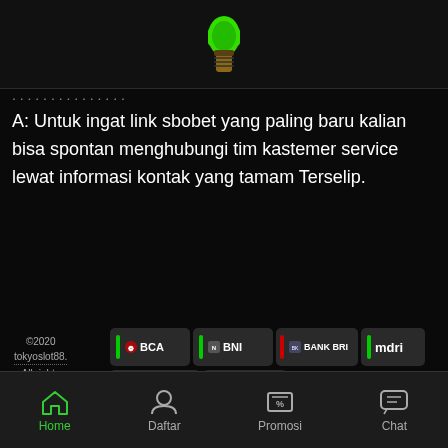[Figure (illustration): Green microphone icon at top center]
A: Untuk ingat link sbobet yang paling baru kalian bisa spontan menghubungi tim kastemer service lewat informasi kontak yang tamam Terselip.
[Figure (logo): Payment method logos: BCA, BNI, BANK BRI, mdri, TELKOMSEL, XL]
©2020 tokyoslot88. All rights reserved | 18+
+62 812-1928-1201
Home  Daftar  Promosi  Chat